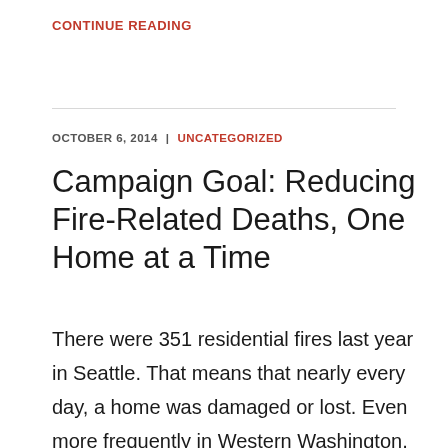CONTINUE READING
OCTOBER 6, 2014  |  UNCATEGORIZED
Campaign Goal: Reducing Fire-Related Deaths, One Home at a Time
There were 351 residential fires last year in Seattle. That means that nearly every day, a home was damaged or lost. Even more frequently in Western Washington, Red Cross volunteers provided help to families who had lost their homes to devastating fires. The vast majority of those